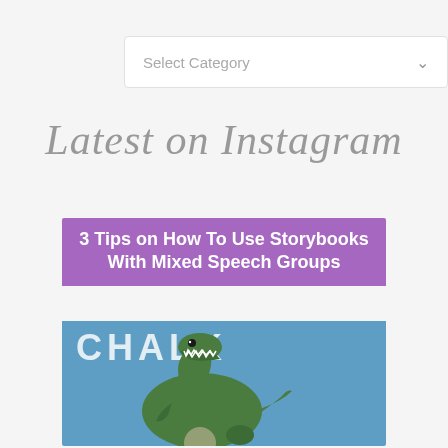[Figure (screenshot): A dropdown UI element labeled 'Select Category' with a chevron arrow on the right, styled as a white rounded rectangle on a light gray background.]
Latest on Instagram
[Figure (photo): A blog post card with a purple banner reading '3 Tips on How To Use Storybooks With Mixed Speech Groups' and below it a photo showing a green dinosaur toy in front of a chalkboard with the word 'CHALK' written on it.]